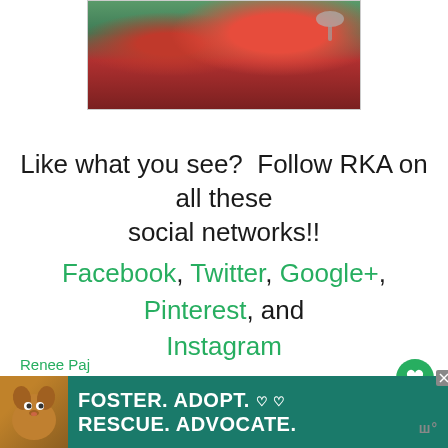[Figure (photo): Photo of a dessert dish with raspberries and a spoon on a red background]
Like what you see?  Follow RKA on all these social networks!!
Facebook, Twitter, Google+, Pinterest, and Instagram
Renee Paj
[Figure (infographic): Ad banner: Foster. Adopt. Rescue. Advocate. with dog photo and teal background]